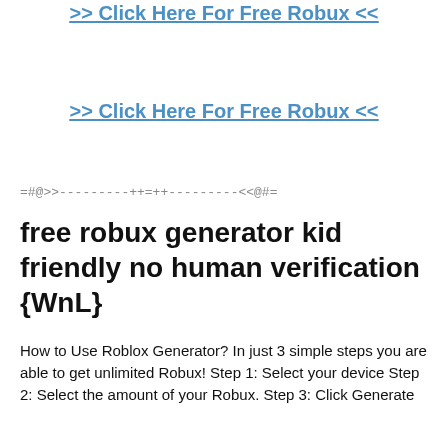>> Click Here For Free Robux <<
>> Click Here For Free Robux <<
=#@>>---------++=++---------<<@#=
free robux generator kid friendly no human verification {WnL}
How to Use Roblox Generator? In just 3 simple steps you are able to get unlimited Robux! Step 1: Select your device Step 2: Select the amount of your Robux. Step 3: Click Generate